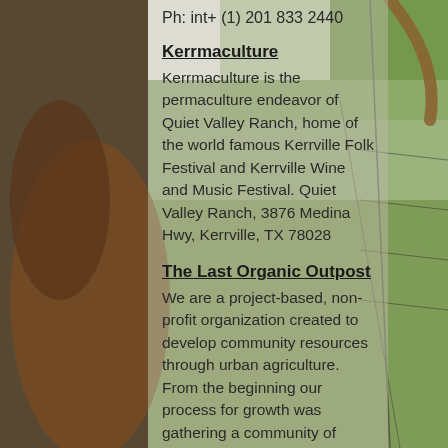[Figure (photo): Background photograph of cattle/longhorn animals near a fence with green pasture/grass visible on the right side.]
Ph: int+ (1) 201 833 2440
Kerrmaculture
Kerrmaculture is the permaculture endeavor of Quiet Valley Ranch, home of the world famous Kerrville Folk Festival and Kerrville Wine and Music Festival. Quiet Valley Ranch, 3876 Medina Hwy, Kerrville, TX 78028
The Last Organic Outpost
We are a project-based, non-profit organization created to develop community resources through urban agriculture.  From the beginning our process for growth was gathering a community of working ideas and our development has been ongoing since 2000. We began